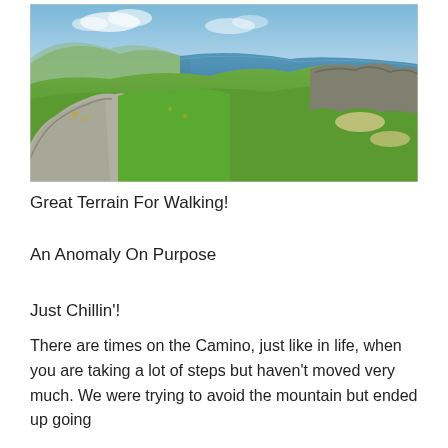[Figure (photo): A coastal path winding through lush green hills with blue sea and sky in the background. Rocky cliffs visible on the right side.]
Great Terrain For Walking!
An Anomaly On Purpose
Just Chillin'!
There are times on the Camino, just like in life, when you are taking a lot of steps but haven't moved very much. We were trying to avoid the mountain but ended up going